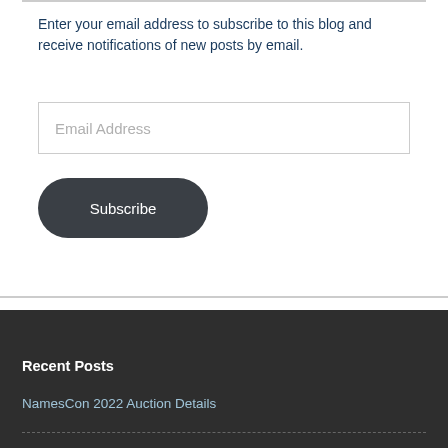Enter your email address to subscribe to this blog and receive notifications of new posts by email.
Email Address
Subscribe
Recent Posts
NamesCon 2022 Auction Details